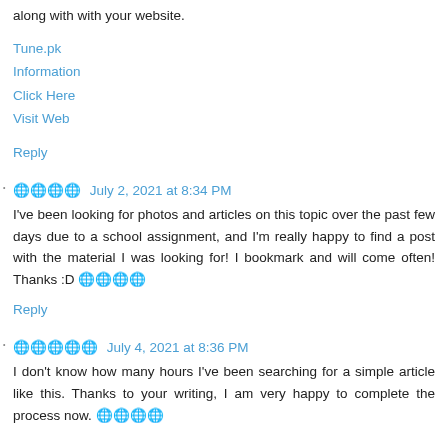along with with your website.
Tune.pk
Information
Click Here
Visit Web
Reply
🌐🌐🌐🌐  July 2, 2021 at 8:34 PM
I've been looking for photos and articles on this topic over the past few days due to a school assignment, and I'm really happy to find a post with the material I was looking for! I bookmark and will come often! Thanks :D 🌐🌐🌐🌐
Reply
🌐🌐🌐🌐🌐  July 4, 2021 at 8:36 PM
I don't know how many hours I've been searching for a simple article like this. Thanks to your writing, I am very happy to complete the process now. 🌐🌐🌐🌐